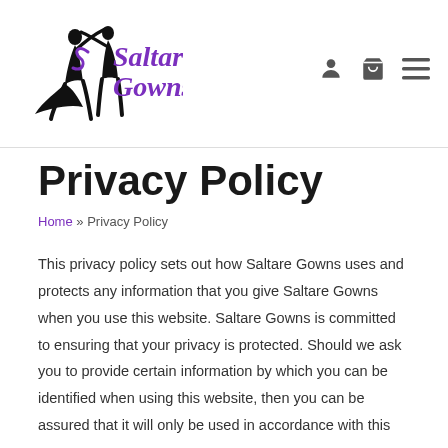[Figure (logo): Saltare Gowns logo with dancing silhouette figures and purple script text]
Privacy Policy
Home » Privacy Policy
This privacy policy sets out how Saltare Gowns uses and protects any information that you give Saltare Gowns when you use this website. Saltare Gowns is committed to ensuring that your privacy is protected. Should we ask you to provide certain information by which you can be identified when using this website, then you can be assured that it will only be used in accordance with this